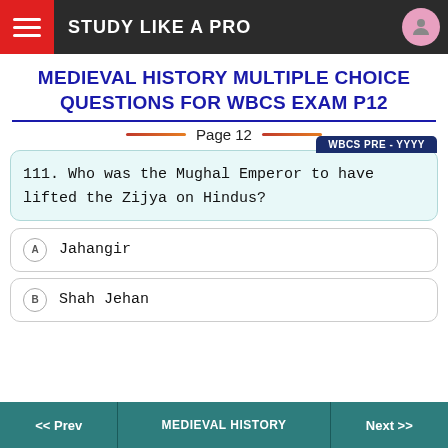STUDY LIKE A PRO
MEDIEVAL HISTORY MULTIPLE CHOICE QUESTIONS FOR WBCS EXAM P12
Page 12
WBCS PRE - YYYY
111. Who was the Mughal Emperor to have lifted the Zijya on Hindus?
A  Jahangir
B  Shah Jehan
<< Prev  MEDIEVAL HISTORY  Next >>